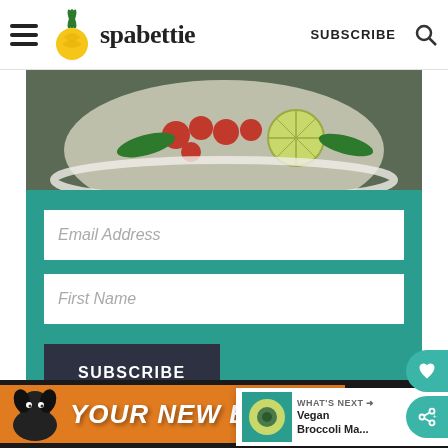spabettie — SUBSCRIBE
[Figure (photo): Top-down view of a bowl with cherry tomatoes, greens, and sliced citrus fruit]
Email Address
First Name
SUBSCRIBE
WHAT'S NEXT → Vegan Broccoli Ma...
[Figure (photo): Black dog silhouette with orange banner: YOUR NEW BFF]